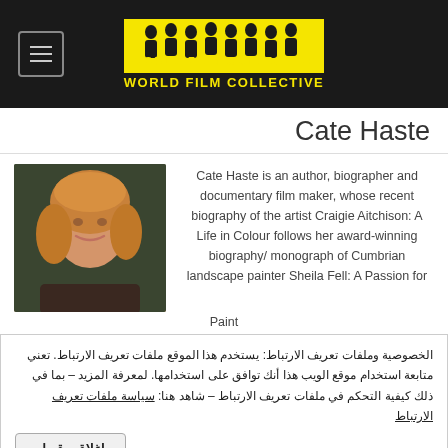World Film Collective
Cate Haste
[Figure (photo): Portrait photo of Cate Haste, a woman with curly blonde-auburn hair, smiling, in front of a dark background.]
Cate Haste is an author, biographer and documentary film maker, whose recent biography of the artist Craigie Aitchison: A Life in Colour follows her award-winning biography/ monograph of Cumbrian landscape painter Sheila Fell: A Passion for Paint
الخصوصية وملفات تعريف الارتباط: يستخدم هذا الموقع ملفات تعريف الارتباط. تعني متابعة استخدام موقع الويب هذا أنك توافق على استخدامها. لمعرفة المزيد – بما في ذلك كيفية التحكم في ملفات تعريف الارتباط – شاهد هنا: سياسة ملفات تعريف الارتباط
إغلاق وقبول